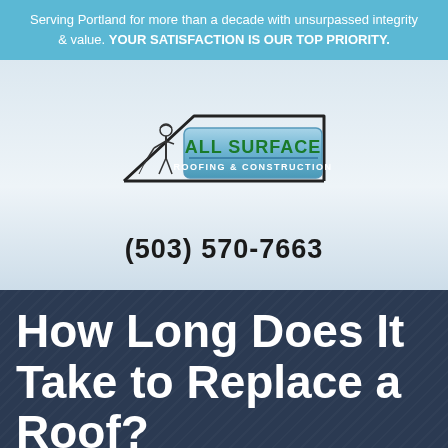Serving Portland for more than a decade with unsurpassed integrity & value. YOUR SATISFACTION IS OUR TOP PRIORITY.
[Figure (logo): All Surface Roofing & Construction logo: a figure of a roofer standing beside a house roof outline, with a blue badge reading ALL SURFACE / ROOFING & CONSTRUCTION in green and white text]
(503) 570-7663
How Long Does It Take to Replace a Roof?